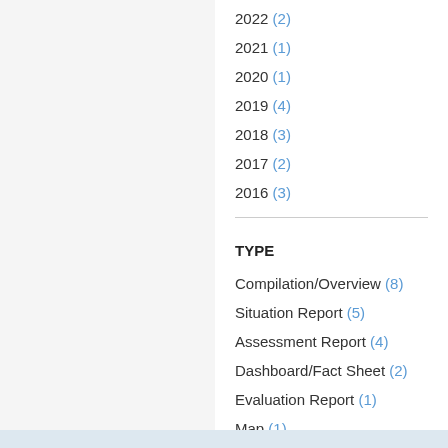2022 (2)
2021 (1)
2020 (1)
2019 (4)
2018 (3)
2017 (2)
2016 (3)
TYPE
Compilation/Overview (8)
Situation Report (5)
Assessment Report (4)
Dashboard/Fact Sheet (2)
Evaluation Report (1)
Map (1)